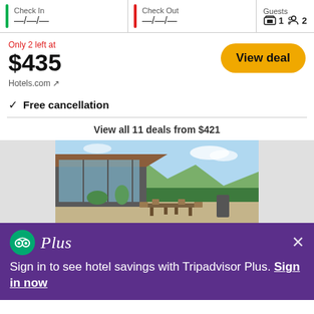Check In — / — / —  |  Check Out — / — / —  |  Guests 1  2
Only 2 left at $435
View deal
Hotels.com ↗
✓  Free cancellation
View all 11 deals from $421
[Figure (photo): Outdoor patio with dining table and chairs next to a modern building with large glass windows, lush green trees and mountains in background under blue sky]
Sign in to see hotel savings with Tripadvisor Plus. Sign in now